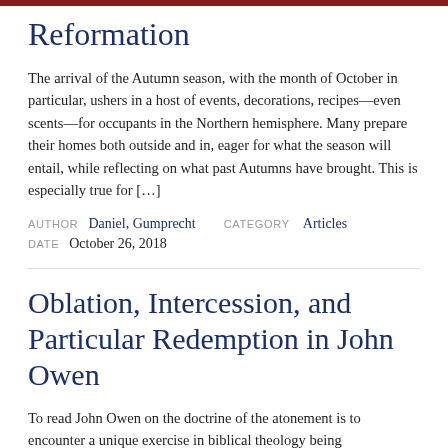Reformation
The arrival of the Autumn season, with the month of October in particular, ushers in a host of events, decorations, recipes—even scents—for occupants in the Northern hemisphere. Many prepare their homes both outside and in, eager for what the season will entail, while reflecting on what past Autumns have brought. This is especially true for […]
AUTHOR Daniel, Gumprecht   CATEGORY Articles
DATE October 26, 2018
Oblation, Intercession, and Particular Redemption in John Owen
To read John Owen on the doctrine of the atonement is to encounter a unique exercise in biblical theology being